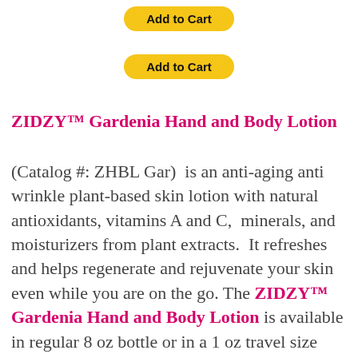[Figure (other): Yellow 'Add to Cart' button (top)]
[Figure (other): Yellow 'Add to Cart' button (second)]
ZIDZY™ Gardenia Hand and Body Lotion
(Catalog #: ZHBL Gar)  is an anti-aging anti wrinkle plant-based skin lotion with natural antioxidants, vitamins A and C,  minerals, and moisturizers from plant extracts.  It refreshes and helps regenerate and rejuvenate your skin even while you are on the go. The ZIDZY™ Gardenia Hand and Body Lotion is available in regular 8 oz bottle or in a 1 oz travel size